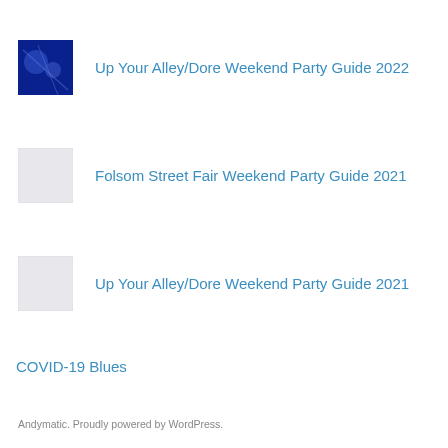[Figure (photo): Small blue thumbnail image with abstract light patterns]
Up Your Alley/Dore Weekend Party Guide 2022
[Figure (photo): Small light gray placeholder thumbnail image]
Folsom Street Fair Weekend Party Guide 2021
[Figure (photo): Small light gray placeholder thumbnail image]
Up Your Alley/Dore Weekend Party Guide 2021
COVID-19 Blues
Andymatic. Proudly powered by WordPress.